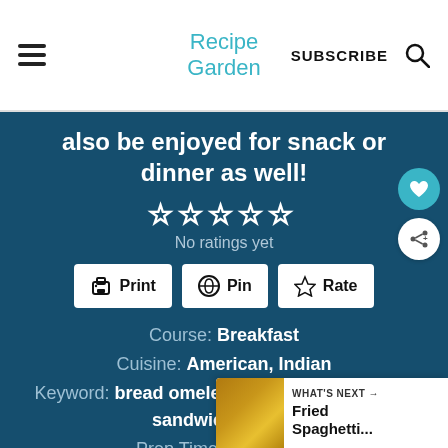Recipe Garden | SUBSCRIBE
also be enjoyed for snack or dinner as well!
No ratings yet
Print | Pin | Rate
Course: Breakfast
Cuisine: American, Indian
Keyword: bread omelette, egg sandwich, egg sandwich for bre...
Prep Time: 3 minutes
Cook Time: 7 minutes
WHAT'S NEXT → Fried Spaghetti...